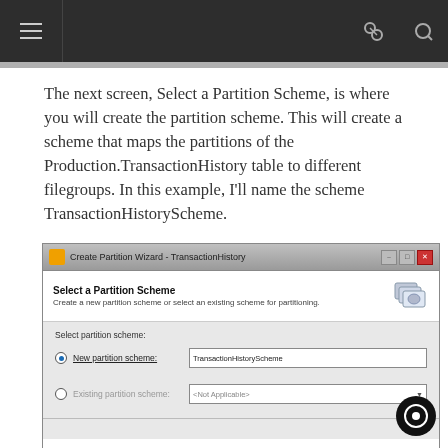navigation bar
The next screen, Select a Partition Scheme, is where you will create the partition scheme. This will create a scheme that maps the partitions of the Production.TransactionHistory table to different filegroups. In this example, I'll name the scheme TransactionHistoryScheme.
[Figure (screenshot): Screenshot of 'Create Partition Wizard - TransactionHistory' dialog showing 'Select a Partition Scheme' step. Contains radio buttons for 'New partition scheme:' with value 'TransactionHistoryScheme' filled in, and 'Existing partition scheme:' with '<Not Applicable>' dropdown disabled.]